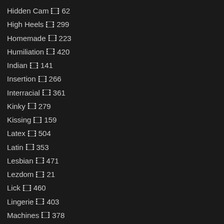Hidden Cam 62
High Heels 299
Homemade 223
Humiliation 420
Indian 141
Insertion 266
Interracial 361
Kinky 279
Kissing 159
Latex 504
Latin 353
Lesbian 471
Lezdom 21
Lick 460
Lingerie 403
Machines 378
Maid 159